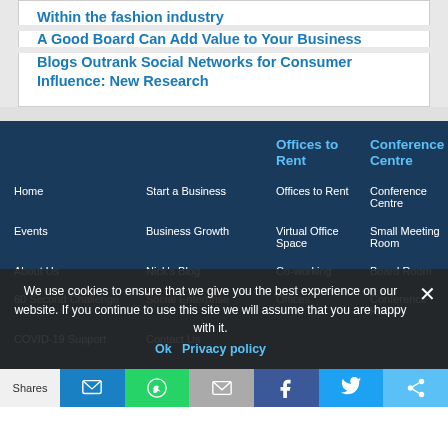Within the fashion industry
A Good Board Can Add Value to Your Business
Blogs Outrank Social Networks for Consumer Influence: New Research
Home
Start a Business
Offices to Rent
Conference Centre
Events
Business Growth
Offices to Rent
Conference Centre
About Us
Nick's Blog
Virtual Office Space
Small Meeting Room
60 Second Challenge
Social Enterprise
Co-working
Board Room
COVID-19 Support
Contact Us
Offices
Conference Room
We use cookies to ensure that we give you the best experience on our website. If you continue to use this site we will assume that you are happy with it.
Ok   Privacy policy
Shares